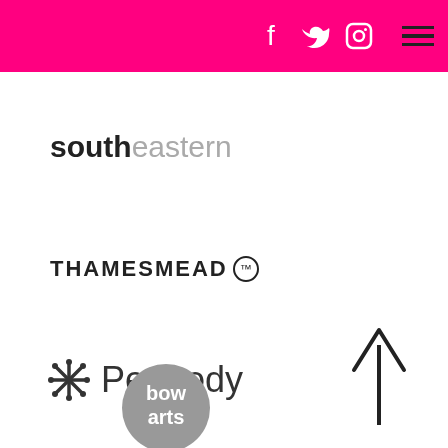Social media icons (Facebook, Twitter, Instagram) and hamburger menu on pink/magenta background
[Figure (logo): Southeastern logo: 'south' in dark bold, 'eastern' in grey light weight]
[Figure (logo): THAMESMEAD TM logo in uppercase bold black with circled TM symbol]
[Figure (logo): Peabody logo with snowflake asterisk icon and 'Peabody' text in dark grey]
[Figure (logo): Bow Arts logo: grey circle with white text 'bow arts']
[Figure (other): Upward arrow (back to top navigation element) in dark colour, bottom right]